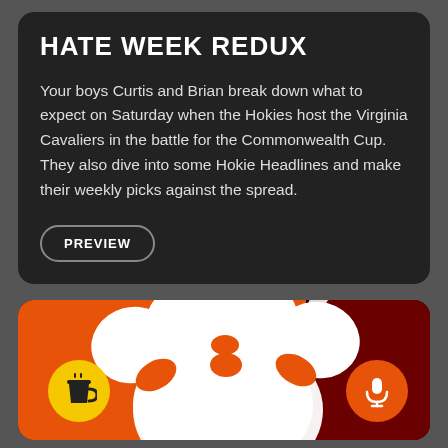HATE WEEK REDUX
Your boys Curtis and Brian break down what to expect on Saturday when the Hokies host the Virginia Cavaliers in the battle for the Commonwealth Cup. They also dive into some Hokie Headlines and make their weekly picks against the spread.
PREVIEW
[Figure (illustration): Orange and dark red background with a large white Clemson tiger paw print logo, a yellow coffee cup icon circle on the lower left, and an orange microphone icon circle on the lower right.]